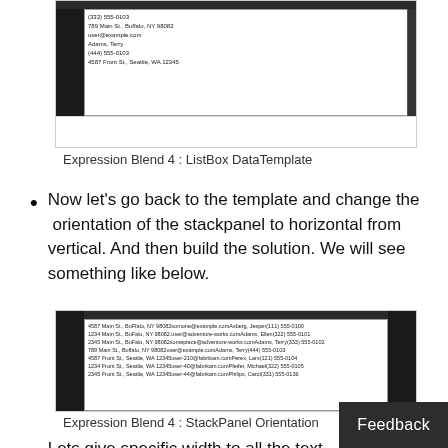[Figure (screenshot): Expression Blend 4 ListBox DataTemplate screenshot showing a dark interface with a white content area listing contact names and addresses]
Expression Blend 4 : ListBox DataTemplate
Now let’s go back to the template and change the  orientation of the stackpanel to horizontal from vertical. And then build the solution. We will see something like below.
[Figure (screenshot): Expression Blend 4 StackPanel Orientation screenshot showing horizontal layout of contact data in a white panel on dark background]
Expression Blend 4 : StackPanel Orientation
Lets give specific width to all the text we will see a clean layout.
Feedback